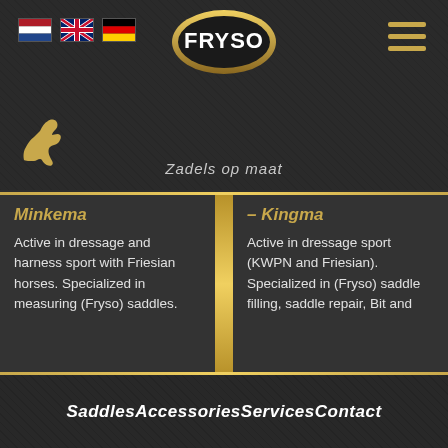[Figure (logo): FRYSO oval logo in gold and black, with three country flag icons (Netherlands, UK, Germany) to the left and hamburger menu lines to the right]
Zadels op maat
Minkema
Active in dressage and harness sport with Friesian horses. Specialized in measuring (Fryso) saddles.
– Kingma
Active in dressage sport (KWPN and Friesian). Specialized in (Fryso) saddle filling, saddle repair, Bit and
SaddlesAccessoriesServicesContact